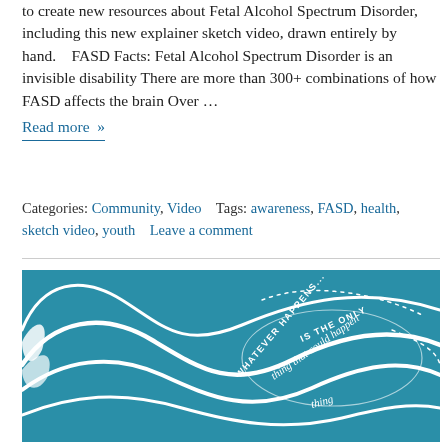to create new resources about Fetal Alcohol Spectrum Disorder, including this new explainer sketch video, drawn entirely by hand.    FASD Facts: Fetal Alcohol Spectrum Disorder is an invisible disability There are more than 300+ combinations of how FASD affects the brain Over … Read more »
Categories: Community, Video    Tags: awareness, FASD, health, sketch video, youth    Leave a comment
[Figure (illustration): Teal/blue background with white flowing wave lines and handwritten text reading 'WHATEVER HAPPENS... IS THE ONLY thing that could happen']